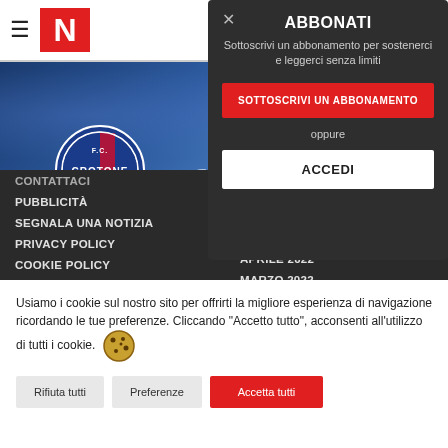≡ N (Notizia logo)
[Figure (screenshot): FC Crotone banner with stadium background and club logo]
CONTATTACI
PUBBLICITÀ
SEGNALA UNA NOTIZIA
PRIVACY POLICY
COOKIE POLICY
FEED RSS
SOCIALE (partially visible)
MAGGIO 2022
APRILE 2022
MARZO 2022
FEBBRAIO 2022 (partially visible)
[Figure (screenshot): ABBONATI modal dialog with subscription prompt, red subscribe button and ACCEDI login button]
Usiamo i cookie sul nostro sito per offrirti la migliore esperienza di navigazione ricordando le tue preferenze. Cliccando "Accetto tutto", acconsenti all'utilizzo di tutti i cookie.
Rifiuta tutti
Preferenze
Accetta tutti